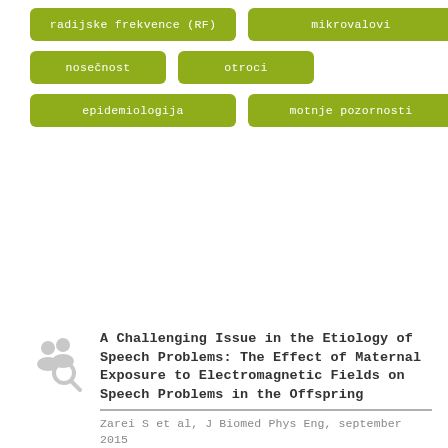radijske frekvence (RF)
mikrovalovi
nosečnost
otroci
epidemiologija
motnje pozornosti
A Challenging Issue in the Etiology of Speech Problems: The Effect of Maternal Exposure to Electromagnetic Fields on Speech Problems in the Offspring
Zarei S et al, J Biomed Phys Eng, september 2015
"We found a significant association between either the call time (P=0.002) or history of mobile phone use (months used)